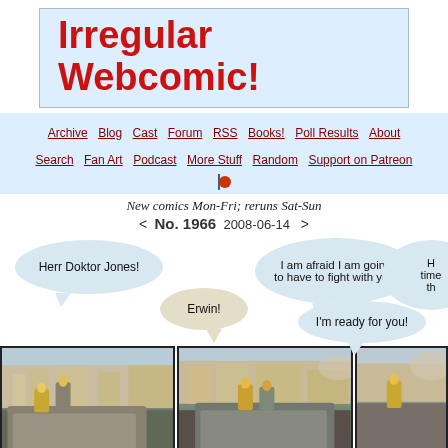Irregular Webcomic!
Archive  Blog  Cast  Forum  RSS  Books!  Poll Results  About  Search  Fan Art  Podcast  More Stuff  Random  Support on Patreon
New comics Mon-Fri; reruns Sat-Sun
< No. 1966  2008-06-14  >
[Figure (illustration): Webcomic page showing LEGO figures in three comic panels with speech bubbles. Bubble 1: 'Herr Doktor Jones!', Bubble 2: 'Erwin!', Bubble 3: 'I am afraid I am going to have to fight with you.', Bubble 4: 'I’m ready for you!', Bubble 5 (partial): 'H... time... th...' Three panels show LEGO minifigures on a vehicle in a European city setting.]